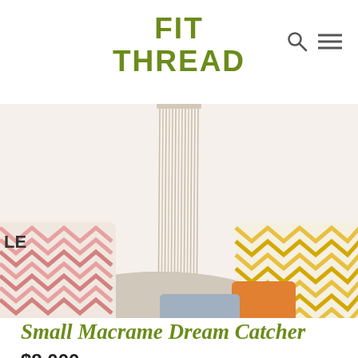FIT THREAD
[Figure (photo): A macrame wall hanging with long fringe strands mounted on a wall above a couch with decorative pillows including pink chevron and yellow chevron patterns.]
Small Macrame Dream Catcher